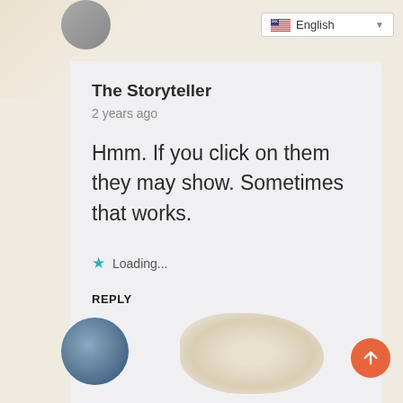English
The Storyteller
2 years ago
Hmm. If you click on them they may show. Sometimes that works.
Loading...
REPLY